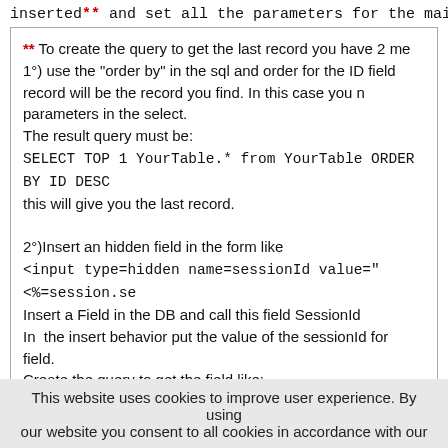inserted** and set all the parameters for the mail you need s
** To create the query to get the last record you have 2 me
1°) use the "order by" in the sql and order for the ID field
record will be the record you find. In this case you n
parameters in the select.
The result query must be:
SELECT TOP 1 YourTable.* from YourTable ORDER BY ID DESC
this will give you the last record.

2°)Insert an hidden field in the form like
<input type=hidden name=sessionId value="<%=session.se
Insert a Field in the DB and call this field SessionId
In the insert behavior put the value of the sessionId for
field.
Create the query to get the field like:
"SELECT TOP 1 YourTable.* from YourTable where SessionId
ORDER BY ID DESC"
The second is a method more sure because if there are 2
in the same time with the second you will be sure to get the
This website uses cookies to improve user experience. By using our website you consent to all cookies in accordance with our